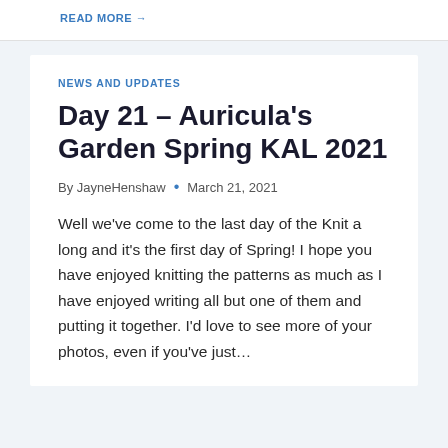READ MORE →
NEWS AND UPDATES
Day 21 – Auricula's Garden Spring KAL 2021
By JayneHenshaw • March 21, 2021
Well we've come to the last day of the Knit a long and it's the first day of Spring! I hope you have enjoyed knitting the patterns as much as I have enjoyed writing all but one of them and putting it together. I'd love to see more of your photos, even if you've just…